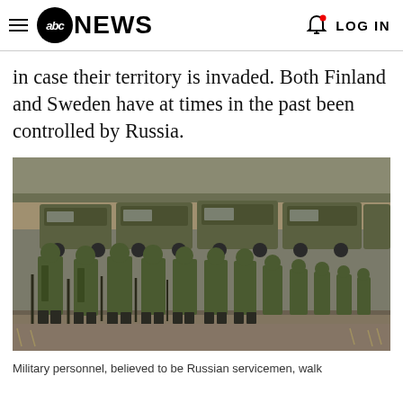abc NEWS  LOG IN
in case their territory is invaded. Both Finland and Sweden have at times in the past been controlled by Russia.
[Figure (photo): Military personnel in green camouflage uniforms walking in a line, with military trucks in the background. Believed to be Russian servicemen.]
Military personnel, believed to be Russian servicemen, walk